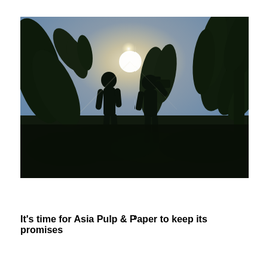[Figure (photo): Silhouette photograph of two children standing in a lush tropical landscape with large banana/tropical leaves around them, backlit by a bright sun creating a hazy glow. The scene is dark with the figures and vegetation visible only as dark silhouettes against the bright sky.]
It's time for Asia Pulp & Paper to keep its promises